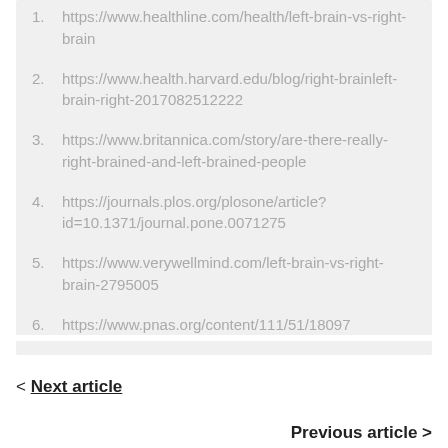https://www.healthline.com/health/left-brain-vs-right-brain
https://www.health.harvard.edu/blog/right-brainleft-brain-right-2017082512222
https://www.britannica.com/story/are-there-really-right-brained-and-left-brained-people
https://journals.plos.org/plosone/article?id=10.1371/journal.pone.0071275
https://www.verywellmind.com/left-brain-vs-right-brain-2795005
https://www.pnas.org/content/111/51/18097
< Next article
Previous article >